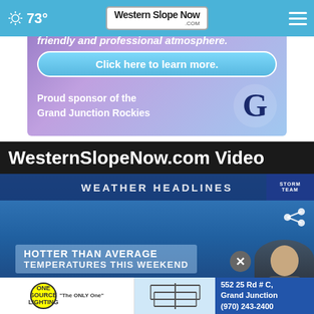73° Western Slope Now .com
[Figure (screenshot): Advertisement banner for a business with purple/blue gradient background. Text reads 'friendly and professional atmosphere.' with a 'Click here to learn more.' button and 'Proud sponsor of the Grand Junction Rockies' with GJ logo.]
WesternSlopeNow.com Video
[Figure (screenshot): Video player screenshot showing weather headlines banner reading 'WEATHER HEADLINES' with 'STORM TEAM' badge. Below: 'HOTTER THAN AVERAGE TEMPERATURES THIS WEEKEND' overlay. Person visible bottom right. Share icon top right. Close button (X). Bottom ad strip shows 'ONE SOURCE LIGHTING - The ONLY One' logo, antenna graphic, and '552 25 Rd # C, Grand Junction (970) 243-2400'.]